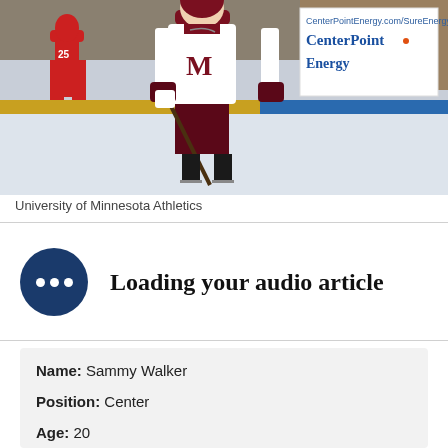[Figure (photo): Hockey player in University of Minnesota Golden Gophers white and maroon uniform skating on ice rink; a red-uniformed opponent visible in background; CenterPoint Energy advertisement banner visible in background]
University of Minnesota Athletics
Loading your audio article
Name: Sammy Walker
Position: Center
Age: 20
Likely 2019-2020 Team: Minnesota Golden Gophers